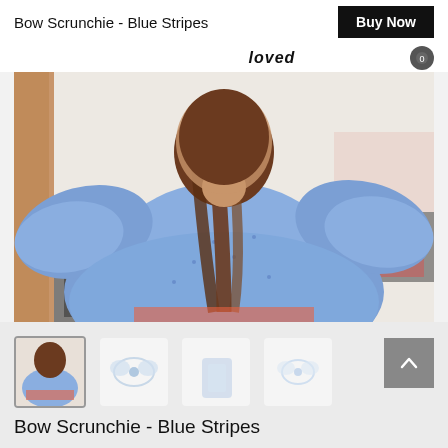Bow Scrunchie - Blue Stripes
loved
[Figure (photo): Overhead view of a person with long brown hair wearing a light blue dotted ruffled dress, standing on a patterned rug]
[Figure (photo): Thumbnail images of the Bow Scrunchie - Blue Stripes product in various views]
Bow Scrunchie - Blue Stripes